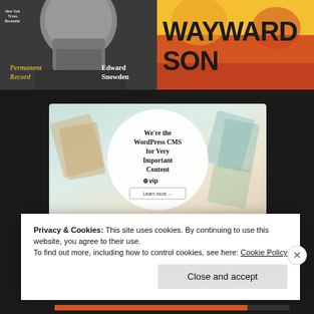[Figure (photo): Book cover of 'Permanent Record' by Edward Snowden — black and white close-up of a man's face/chin with New York Times Bestseller label and gold italic title text]
[Figure (photo): Book cover of 'Wayward Son' — colorful cover with large bold black text on yellow/orange/red background]
[Figure (other): WordPress VIP advertisement banner: 'We're the WordPress CMS for Very Important Content' with WP VIP logo and 'Learn more' button]
Privacy & Cookies: This site uses cookies. By continuing to use this website, you agree to their use.
To find out more, including how to control cookies, see here: Cookie Policy
Close and accept